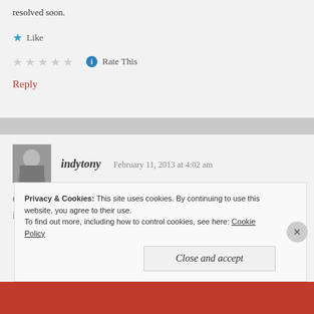resolved soon.
★ Like
☆☆☆☆☆ ℹ Rate This
Reply
indytony   February 11, 2013 at 4:02 am
Congratulations, I have just nominated you for a blogging award. It is called the "Liebster Award" and you can find out about it here...
Privacy & Cookies: This site uses cookies. By continuing to use this website, you agree to their use. To find out more, including how to control cookies, see here: Cookie Policy
Close and accept